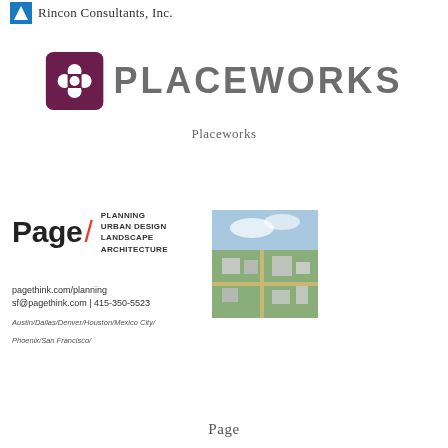Rincon Consultants, Inc.
[Figure (logo): Placeworks logo with decorative icon and wordmark in gray]
Placeworks
[Figure (logo): Page/ planning firm logo with urban design aerial photo, contact info: pagethink.com/planning, sf@pagethink.com | 415-350-5523, offices in Austin/Dallas/Denver/Houston/Mexico City/Phoenix/San Francisco]
Page